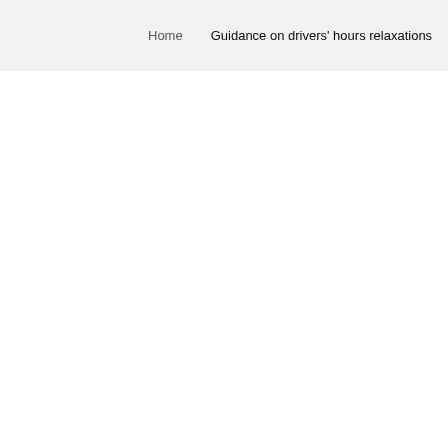Home   Guidance on drivers' hours relaxations